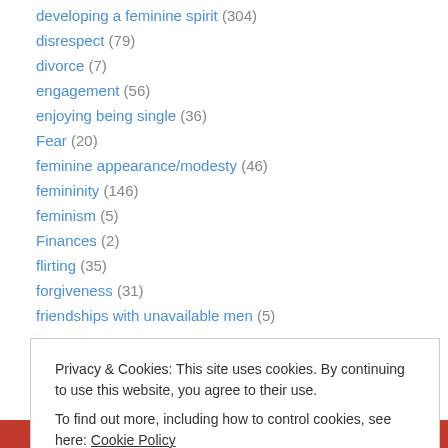developing a feminine spirit (304)
disrespect (79)
divorce (7)
engagement (56)
enjoying being single (36)
Fear (20)
feminine appearance/modesty (46)
femininity (146)
feminism (5)
Finances (2)
flirting (35)
forgiveness (31)
friendships with unavailable men (5)
Privacy & Cookies: This site uses cookies. By continuing to use this website, you agree to their use. To find out more, including how to control cookies, see here: Cookie Policy
Close and accept